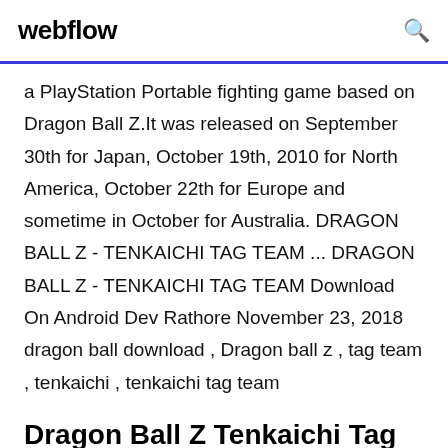webflow
a PlayStation Portable fighting game based on Dragon Ball Z.It was released on September 30th for Japan, October 19th, 2010 for North America, October 22th for Europe and sometime in October for Australia. DRAGON BALL Z - TENKAICHI TAG TEAM ... DRAGON BALL Z - TENKAICHI TAG TEAM Download On Android Dev Rathore November 23, 2018 dragon ball download , Dragon ball z , tag team , tenkaichi , tenkaichi tag team
Dragon Ball Z Tenkaichi Tag Team Mod (OB3) is a mod game and this file is tested and really